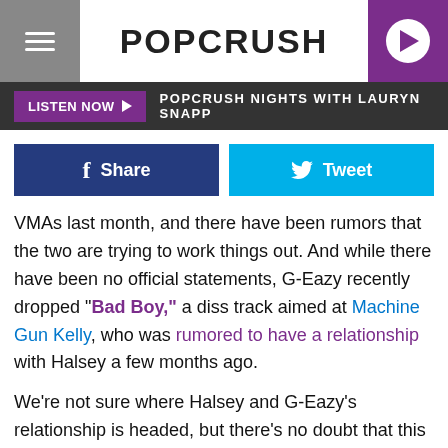POPCRUSH
LISTEN NOW ▶  POPCRUSH NIGHTS WITH LAURYN SNAPP
f Share   Tweet
VMAs last month, and there have been rumors that the two are trying to work things out. And while there have been no official statements, G-Eazy recently dropped "Bad Boy," a diss track aimed at Machine Gun Kelly, who was rumored to have a relationship with Halsey a few months ago.
We're not sure where Halsey and G-Eazy's relationship is headed, but there's no doubt that this isn't the last we'll be hearing about it.
HALSEY AND G-EAZY'S CUTEST COUPLE